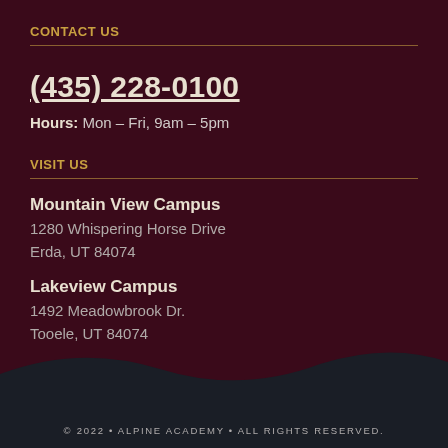CONTACT US
(435) 228-0100
Hours: Mon – Fri, 9am – 5pm
VISIT US
Mountain View Campus
1280 Whispering Horse Drive
Erda, UT 84074
Lakeview Campus
1492 Meadowbrook Dr.
Tooele, UT 84074
© 2022 • ALPINE ACADEMY • ALL RIGHTS RESERVED.